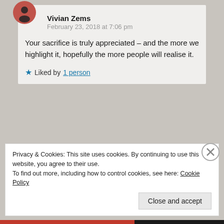Vivian Zems
February 23, 2018 at 7:06 pm
Your sacrifice is truly appreciated – and the more we highlight it, hopefully the more people will realise it.
Liked by 1 person
charliezero1.wordpress.com
February 22, 2018 at 9:58 pm
Privacy & Cookies: This site uses cookies. By continuing to use this website, you agree to their use.
To find out more, including how to control cookies, see here: Cookie Policy